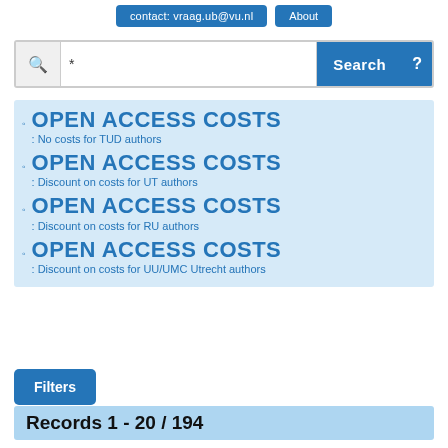contact: vraag.ub@vu.nl   About
*
OPEN ACCESS COSTS: No costs for TUD authors
OPEN ACCESS COSTS: Discount on costs for UT authors
OPEN ACCESS COSTS: Discount on costs for RU authors
OPEN ACCESS COSTS: Discount on costs for UU/UMC Utrecht authors
Filters
Records 1 - 20 / 194